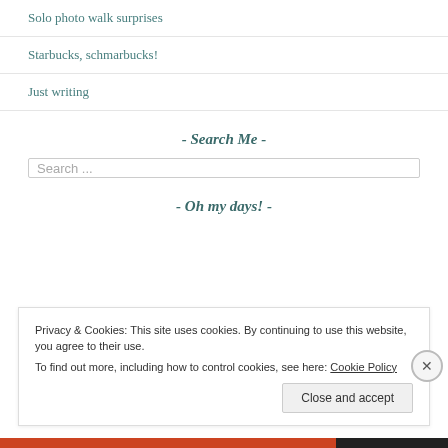Solo photo walk surprises
Starbucks, schmarbucks!
Just writing
- Search Me -
Search ...
- Oh my days! -
Privacy & Cookies: This site uses cookies. By continuing to use this website, you agree to their use.
To find out more, including how to control cookies, see here: Cookie Policy
Close and accept